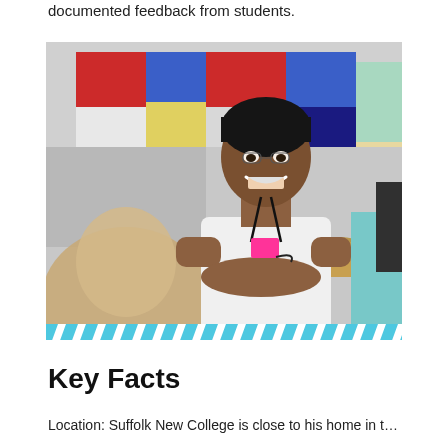documented feedback from students.
[Figure (photo): A smiling young man wearing a white Nike t-shirt and a lanyard with a badge, arms crossed, standing in front of a colorful display of flags or artwork. A blurred figure is in the foreground.]
Key Facts
Location: Suffolk New College is close to...